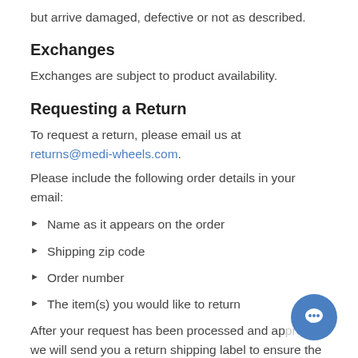but arrive damaged, defective or not as described.
Exchanges
Exchanges are subject to product availability.
Requesting a Return
To request a return, please email us at returns@medi-wheels.com.
Please include the following order details in your email:
Name as it appears on the order
Shipping zip code
Order number
The item(s) you would like to return
After your request has been processed and ap..., we will send you a return shipping label to ensure the